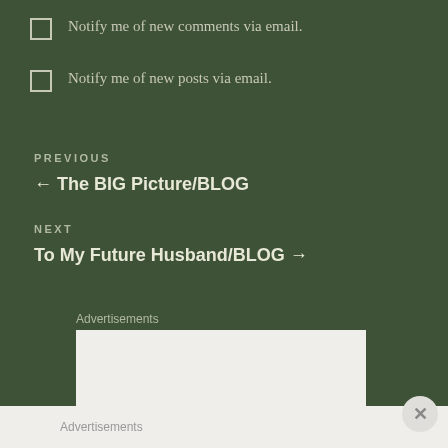Notify me of new comments via email.
Notify me of new posts via email.
PREVIOUS
← The BIG Picture/BLOG
NEXT
To My Future Husband/BLOG →
Advertisements
Advertisements